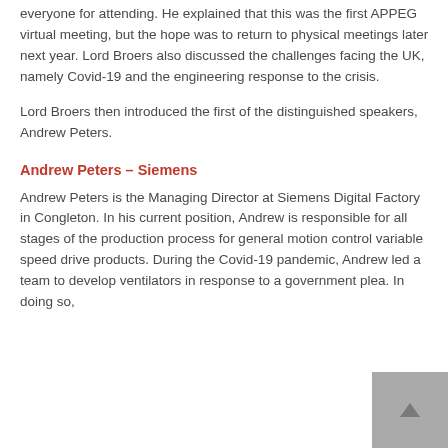everyone for attending. He explained that this was the first APPEG virtual meeting, but the hope was to return to physical meetings later next year. Lord Broers also discussed the challenges facing the UK, namely Covid-19 and the engineering response to the crisis.
Lord Broers then introduced the first of the distinguished speakers, Andrew Peters.
Andrew Peters – Siemens
Andrew Peters is the Managing Director at Siemens Digital Factory in Congleton. In his current position, Andrew is responsible for all stages of the production process for general motion control variable speed drive products. During the Covid-19 pandemic, Andrew led a team to develop ventilators in response to a government plea. In doing so,